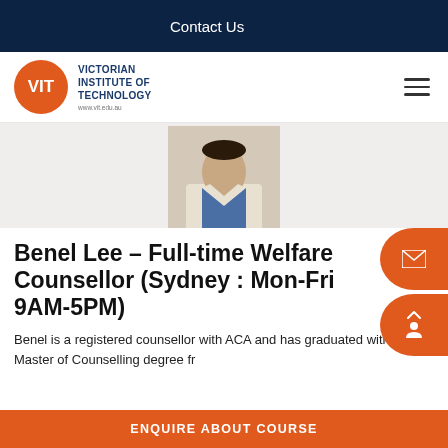Contact Us
[Figure (logo): Victorian Institute of Technology (VIT) logo — orange circle with VIT letters and text 'VICTORIAN INSTITUTE OF TECHNOLOGY www.vit.edu.au']
[Figure (photo): Headshot photo of Benel Lee, a man in a light blazer and blue shirt]
Benel Lee – Full-time Welfare Counsellor (Sydney : Mon-Fri 9AM-5PM)
Benel is a registered counsellor with ACA and has graduated with a Master of Counselling degree fr…
ENQUIRE ABOUT COURSE